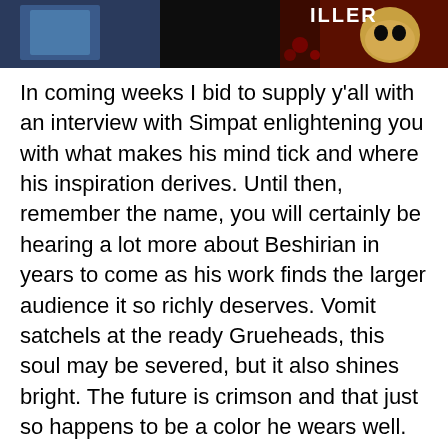[Figure (photo): Cropped top portion of a comic book or horror illustration showing dark imagery with a partial word 'ILLER' visible in the upper right corner]
In coming weeks I bid to supply y'all with an interview with Simpat enlightening you with what makes his mind tick and where his inspiration derives. Until then, remember the name, you will certainly be hearing a lot more about Beshirian in years to come as his work finds the larger audience it so richly deserves. Vomit satchels at the ready Grueheads, this soul may be severed, but it also shines bright. The future is crimson and that just so happens to be a color he wears well.